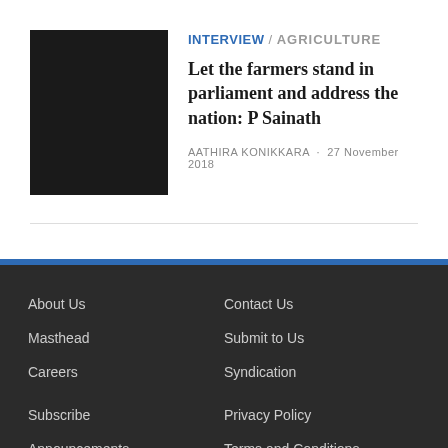[Figure (photo): Black square thumbnail image for article]
INTERVIEW / AGRICULTURE
Let the farmers stand in parliament and address the nation: P Sainath
AATHIRA KONIKKARA · 27 November 2018
About Us
Masthead
Careers
Subscribe
Announcements
Advertising
Contact Us
Submit to Us
Syndication
Privacy Policy
Terms and Conditions